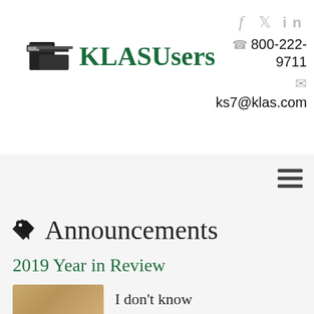[Figure (logo): KLASUsers logo with stylized document icon in dark color and teal/green text]
800-222-9711
ks7@klas.com
Announcements
2019 Year in Review
I don't know